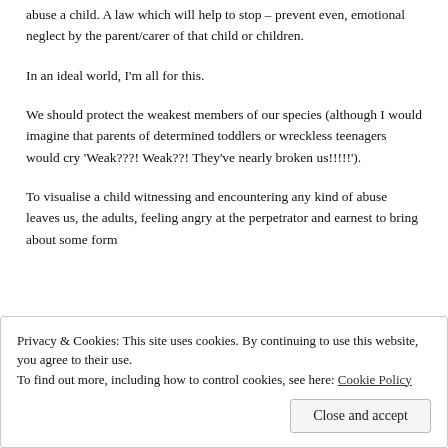abuse a child. A law which will help to stop – prevent even, emotional neglect by the parent/carer of that child or children.
In an ideal world, I'm all for this.
We should protect the weakest members of our species (although I would imagine that parents of determined toddlers or wreckless teenagers would cry 'Weak???! Weak??! They've nearly broken us!!!!!!').
To visualise a child witnessing and encountering any kind of abuse leaves us, the adults, feeling angry at the perpetrator and earnest to bring about some form
Privacy & Cookies: This site uses cookies. By continuing to use this website, you agree to their use.
To find out more, including how to control cookies, see here: Cookie Policy